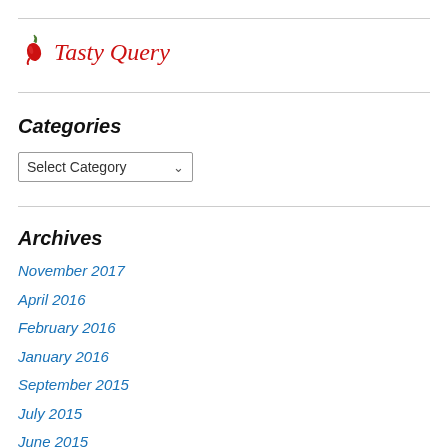[Figure (logo): Tasty Query logo with red chili pepper icon and italic red text 'Tasty Query']
Categories
Select Category (dropdown)
Archives
November 2017
April 2016
February 2016
January 2016
September 2015
July 2015
June 2015